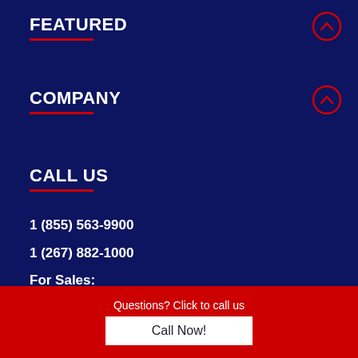FEATURED
COMPANY
CALL US
1 (855) 563-9900
1 (267) 882-1000
For Sales:
Mon-Fri 9-7 EST
Other Inquiries:
Mon-Fri 9-5 EST
Questions? Click to call us
Call Now!